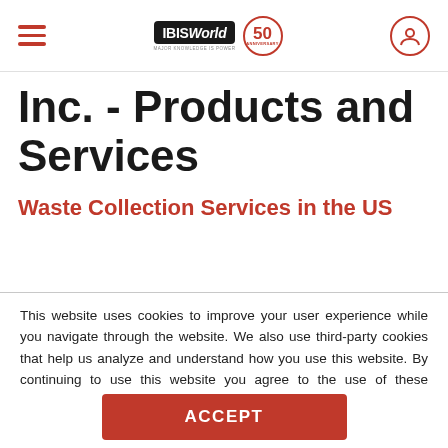IBISWorld 50th Anniversary
Inc. - Products and Services
Waste Collection Services in the US
This website uses cookies to improve your user experience while you navigate through the website. We also use third-party cookies that help us analyze and understand how you use this website. By continuing to use this website you agree to the use of these technologies. LEARN MORE
ACCEPT